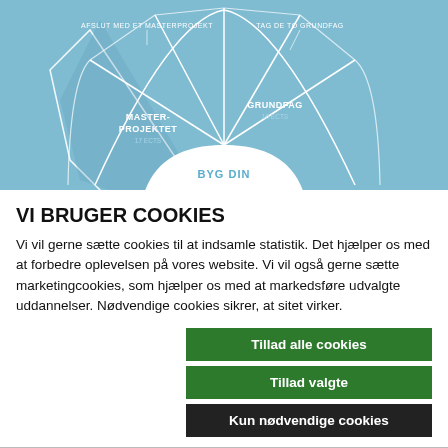[Figure (infographic): Circular fan/wheel diagram on light blue background showing segments: MASTERPROJEKTET (17 ECTS), GRUNDFAG (10 ECTS), and other segments. Labels: AFSLUT MED ET MASTERPROJEKT, TAG DE TO GRUNDFAG. Center text: BYG DIN]
VI BRUGER COOKIES
Vi vil gerne sætte cookies til at indsamle statistik. Det hjælper os med at forbedre oplevelsen på vores website. Vi vil også gerne sætte marketingcookies, som hjælper os med at markedsføre udvalgte uddannelser. Nødvendige cookies sikrer, at sitet virker.
Tillad alle cookies
Tillad valgte
Kun nødvendige cookies
| ✓ Nødvendig | ☐ Præferencer | ☐ Statistik | Vis detaljer ∨ |
| ☐ Marketing |  |  |  |